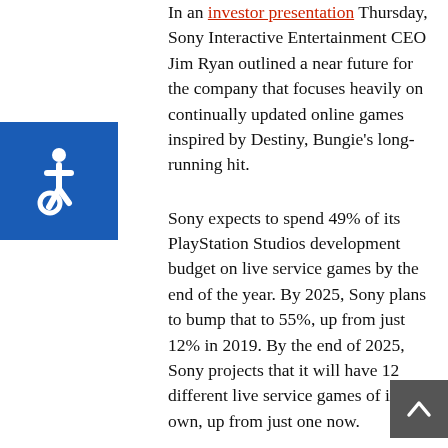[Figure (other): Accessibility icon — white wheelchair symbol on blue square background]
In an investor presentation Thursday, Sony Interactive Entertainment CEO Jim Ryan outlined a near future for the company that focuses heavily on continually updated online games inspired by Destiny, Bungie's long-running hit.
Sony expects to spend 49% of its PlayStation Studios development budget on live service games by the end of the year. By 2025, Sony plans to bump that to 55%, up from just 12% in 2019. By the end of 2025, Sony projects that it will have 12 different live service games of its own, up from just one now.
The company declined to answer questions from TechCrunch about which of its franchises might get the live service treatment, but the presentation cited God of War, Horizon Forbidden West, Spider-Man, The Last of Us
[Figure (other): Back to top button — upward chevron arrow on dark grey square background, bottom-right corner]